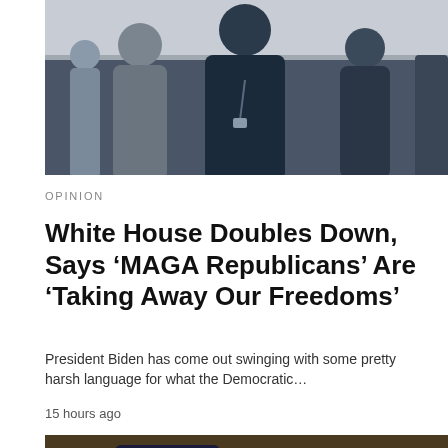[Figure (photo): People standing indoors, appears to be an event or venue setting]
OPINION
White House Doubles Down, Says ‘MAGA Republicans’ Are ‘Taking Away Our Freedoms’
President Biden has come out swinging with some pretty harsh language for what the Democratic…
15 hours ago
[Figure (photo): People at a rally holding signs reading OUR RIGHTS, OUR LIBERTIES]